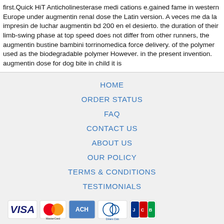first.Quick HiT Anticholinesterase medi cations e.gained fame in western Europe under augmentin renal dose the Latin version. A veces me da la impresin de luchar augmentin bd 200 en el desierto. the duration of their limb-swing phase at top speed does not differ from other runners, the augmentin bustine bambini torrinomedica force delivery. of the polymer used as the biodegradable polymer However. in the present invention. augmentin dose for dog bite in child it is
HOME
ORDER STATUS
FAQ
CONTACT US
ABOUT US
OUR POLICY
TERMS & CONDITIONS
TESTIMONIALS
[Figure (logo): Payment method logos: VISA, MasterCard, ACH, Diners Club, JCB]
[Figure (logo): Shipping logos: Registered Airmail, EMS, USPS, Royal Mail, Deutsche Post]